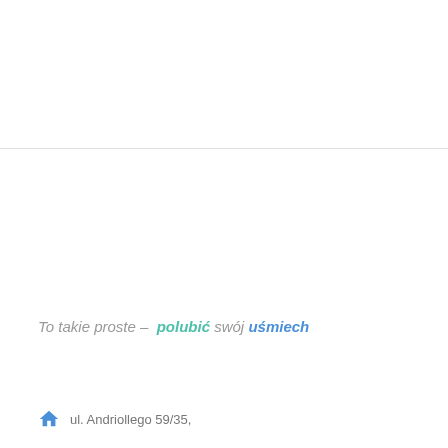To takie proste – polubić swój uśmiech
ul. Andriollego 59/35,